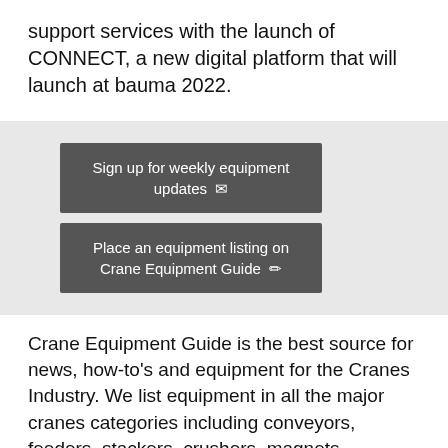support services with the launch of CONNECT, a new digital platform that will launch at bauma 2022.
Sign up for weekly equipment updates
Place an equipment listing on Crane Equipment Guide
Crane Equipment Guide is the best source for news, how-to's and equipment for the Cranes Industry. We list equipment in all the major cranes categories including conveyors, feeders, stackers, crushers, magnets, screening equipment, washing equipment, and more. Our website makes it easy to find the machines you need fast. From manufacturers such as Cedarapids, Doppstadt, Extec, Kleemann, McCloskey, Metso, Nordberg, Pioneer, Powerscreen,